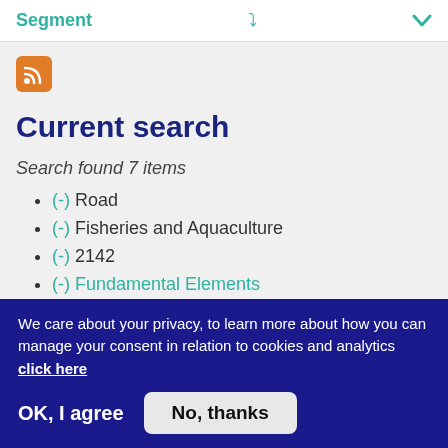Segment
[Figure (other): RSS feed icon — orange rounded square with white RSS symbol]
Current search
Search found 7 items
(-) Road
(-) Fisheries and Aquaculture
(-) 2142
(-) Fundamental Elements
We care about your privacy, to learn more about how you can manage your consent in relation to cookies and analytics click here
OK, I agree
No, thanks